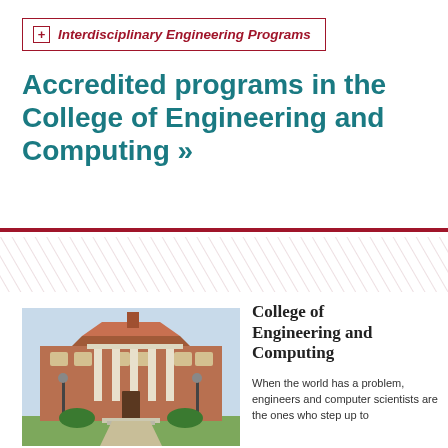Interdisciplinary Engineering Programs
Accredited programs in the College of Engineering and Computing »
[Figure (illustration): Decorative diagonal stripe/hatching band separator]
[Figure (photo): Brick building with white columned portico — College of Engineering and Computing campus building]
College of Engineering and Computing
When the world has a problem, engineers and computer scientists are the ones who step up to provide answers. Their pioneering solutions...